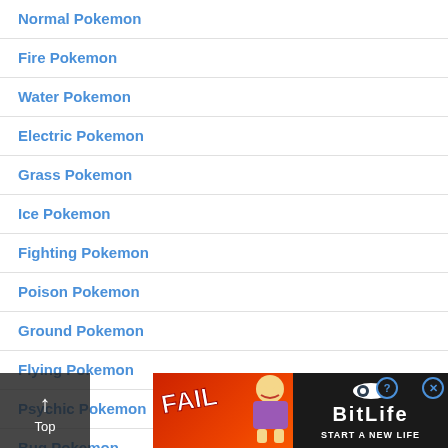Normal Pokemon
Fire Pokemon
Water Pokemon
Electric Pokemon
Grass Pokemon
Ice Pokemon
Fighting Pokemon
Poison Pokemon
Ground Pokemon
Flying Pokemon
Psychic Pokemon
Bug Pokemon
[Figure (other): Advertisement banner for BitLife game showing FAIL text, animated character, and START A NEW LIFE tagline on dark/red background]